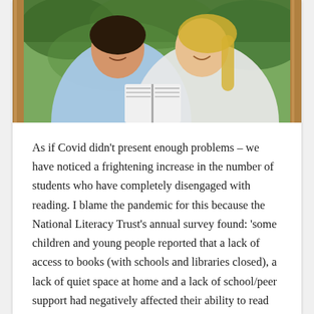[Figure (photo): Two children, a girl in a light blue top and a girl with long blonde hair, smiling and reading a book together outdoors near wooden posts with greenery in the background.]
As if Covid didn’t present enough problems – we have noticed a frightening increase in the number of students who have completely disengaged with reading. I blame the pandemic for this because the National Literacy Trust’s annual survey found: ‘some children and young people reported that a lack of access to books (with schools and libraries closed), a lack of quiet space at home and a lack of school/peer support had negatively affected their ability to read and their motivation to read for enjoyment’. We are absolutely seeing this